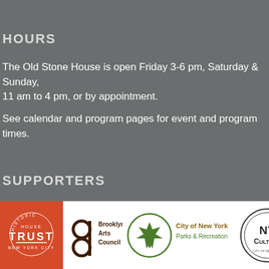HOURS
The Old Stone House is open Friday 3-6 pm, Saturday & Sunday, 11 am to 4 pm, or by appointment.
See calendar and program pages for event and program times.
SUPPORTERS
[Figure (logo): Historic House Trust New York City logo — red/orange background with circular text and 'TRUST' in large letters]
[Figure (logo): Brooklyn Arts Council logo — stylized 'a' figure and text 'Brooklyn Arts Council']
[Figure (logo): City of New York Parks & Recreation logo — green maple leaf in circle with text]
[Figure (logo): NY Culture City of New York logo — circular logo with 'NYCulture' text]